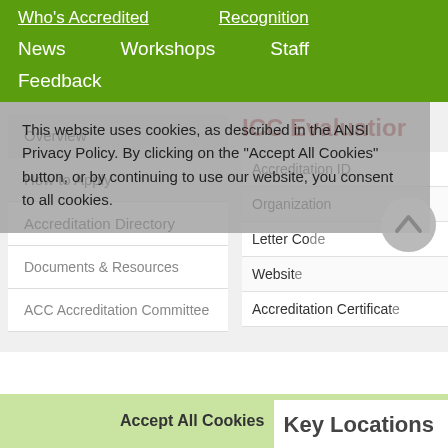Who's Accredited   Recognition
News   Workshops   Staff
Feedback
Overview
How to Apply
Accreditation Directory
Documents & Resources
ACC Accreditation Committee
ICC Evaluation
| Field | Value |
| --- | --- |
| Accreditation ID |  |
| Organization |  |
| Letter Code |  |
| Website |  |
| Accreditation Certificate |  |
This website uses cookies, as described in the ANSI Privacy Policy. By clicking on the "Accept All Cookies" button, or by continuing to use our website, you consent to all cookies.
Accept All Cookies
Key Locations